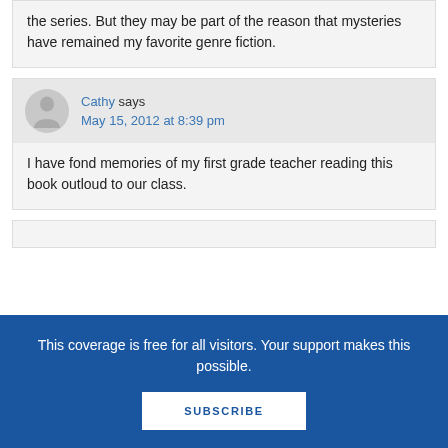the series. But they may be part of the reason that mysteries have remained my favorite genre fiction.
Cathy says
May 15, 2012 at 8:39 pm
I have fond memories of my first grade teacher reading this book outloud to our class.
This coverage is free for all visitors. Your support makes this possible.
SUBSCRIBE